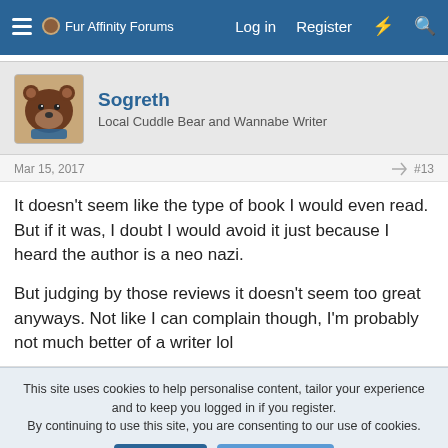Fur Affinity Forums  Log in  Register
Sogreth
Local Cuddle Bear and Wannabe Writer
Mar 15, 2017  #13
It doesn't seem like the type of book I would even read. But if it was, I doubt I would avoid it just because I heard the author is a neo nazi.

But judging by those reviews it doesn't seem too great anyways. Not like I can complain though, I'm probably not much better of a writer lol
This site uses cookies to help personalise content, tailor your experience and to keep you logged in if you register.
By continuing to use this site, you are consenting to our use of cookies.
Accept  Learn more...